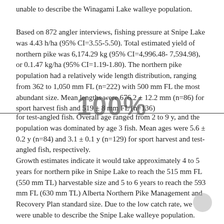unable to describe the Winagami Lake walleye population.
Based on 872 angler interviews, fishing pressure at Snipe Lake was 4.43 h/ha (95% CI=3.55-5.50). Total estimated yield of northern pike was 6,174.29 kg (95% CI=4,996.48- 7,594.98), or 0.1.47 kg/ha (95% CI=1.19-1.80). The northern pike population had a relatively wide length distribution, ranging from 362 to 1,050 mm FL (n=222) with 500 mm FL the most abundant size. Mean lengths were 676.2 ± 12.2 mm (n=86) for sport harvest fish and 519 ± 8 mm FL (n=136) for test-angled fish. Overall age ranged from 2 to 9 y, and the population was dominated by age 3 fish. Mean ages were 5.6 ± 0.2 y (n=84) and 3.1 ± 0.1 y (n=129) for sport harvest and test-angled fish, respectively.
Growth estimates indicate it would take approximately 4 to 5 years for northern pike in Snipe Lake to reach the 515 mm FL (550 mm TL) harvestable size and 5 to 6 years to reach the 593 mm FL (630 mm TL) Alberta Northern Pike Management and Recovery Plan standard size. Due to the low catch rate, we were unable to describe the Snipe Lake walleye population.